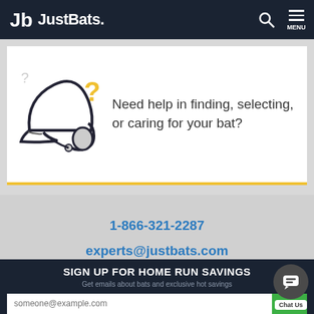JustBats.
[Figure (illustration): Baseball helmet outline illustration with question marks, indicating a help/advice section]
Need help in finding, selecting, or caring for your bat?
1-866-321-2287
experts@justbats.com
Live Chat
SIGN UP FOR HOME RUN SAVINGS
Get emails about bats and exclusive hot savings